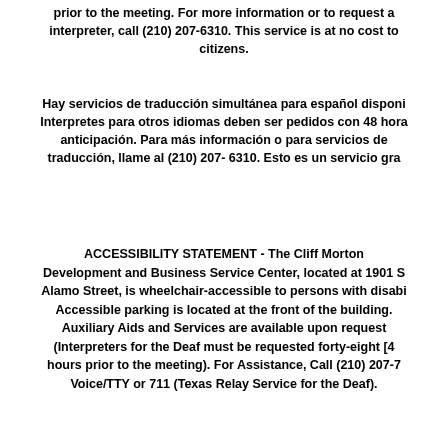prior to the meeting. For more information or to request a interpreter, call (210) 207-6310. This service is at no cost to citizens.
Hay servicios de traducción simultánea para español disponi Interpretes para otros idiomas deben ser pedidos con 48 hora anticipación. Para más información o para solicitar servicios de traducción, llame al (210) 207- 6310. Esto es un servicio gra
ACCESSIBILITY STATEMENT - The Cliff Morton Development and Business Service Center, located at 1901 S Alamo Street, is wheelchair-accessible to persons with disabi Accessible parking is located at the front of the building. Auxiliary Aids and Services are available upon request (Interpreters for the Deaf must be requested forty-eight [4 hours prior to the meeting). For Assistance, Call (210) 207-7 Voice/TTY or 711 (Texas Relay Service for the Deaf).